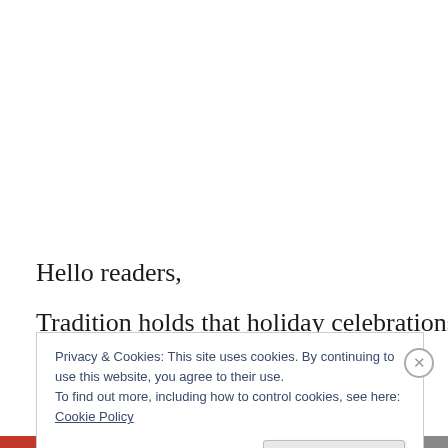Hello readers,
Tradition holds that holiday celebrations are a time for
Privacy & Cookies: This site uses cookies. By continuing to use this website, you agree to their use.
To find out more, including how to control cookies, see here: Cookie Policy
Close and accept